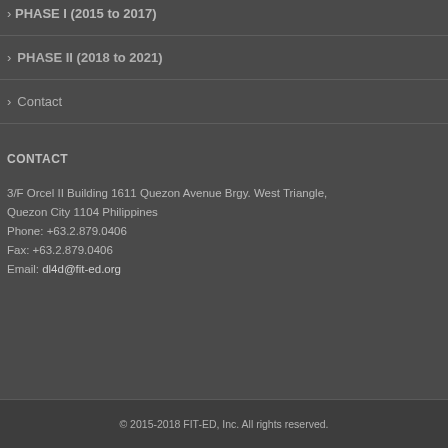PHASE I (2015 to 2017)
PHASE II (2018 to 2021)
Contact
CONTACT
3/F Orcel II Building 1611 Quezon Avenue Brgy. West Triangle, Quezon City 1104 Philippines
Phone: +63.2.879.0406
Fax: +63.2.879.0406
Email: dl4d@fit-ed.org
© 2015-2018 FIT-ED, Inc. All rights reserved.